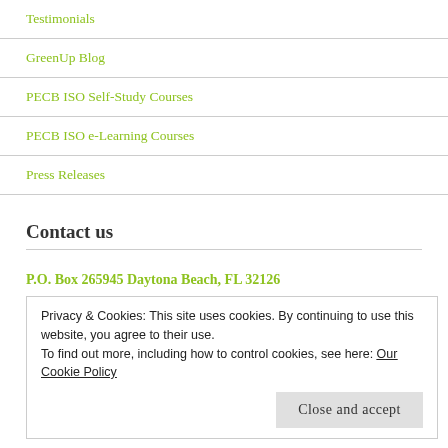Testimonials
GreenUp Blog
PECB ISO Self-Study Courses
PECB ISO e-Learning Courses
Press Releases
Contact us
P.O. Box 265945 Daytona Beach, FL 32126
Privacy & Cookies: This site uses cookies. By continuing to use this website, you agree to their use.
To find out more, including how to control cookies, see here: Our Cookie Policy
Close and accept